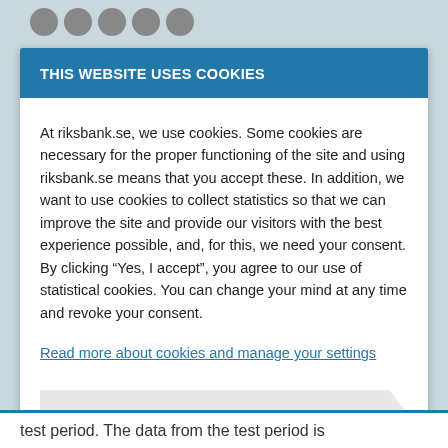[Figure (other): Five grey social media icon circles at top of page]
THIS WEBSITE USES COOKIES
At riksbank.se, we use cookies. Some cookies are necessary for the proper functioning of the site and using riksbank.se means that you accept these. In addition, we want to use cookies to collect statistics so that we can improve the site and provide our visitors with the best experience possible, and, for this, we need your consent. By clicking “Yes, I accept”, you agree to our use of statistical cookies. You can change your mind at any time and revoke your consent.
Read more about cookies and manage your settings
NO, I DO NOT ACCEPT
test period. The data from the test period is